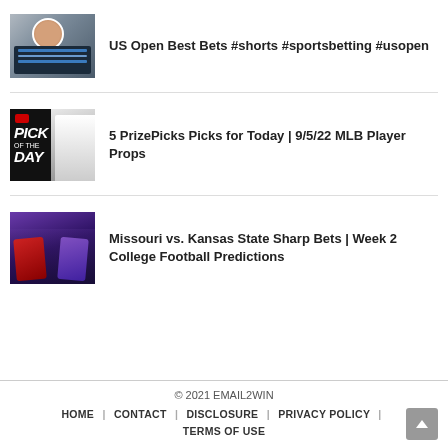US Open Best Bets #shorts #sportsbetting #usopen
5 PrizePicks Picks for Today | 9/5/22 MLB Player Props
Missouri vs. Kansas State Sharp Bets | Week 2 College Football Predictions
© 2021 EMAIL2WIN
HOME | CONTACT | DISCLOSURE | PRIVACY POLICY | TERMS OF USE